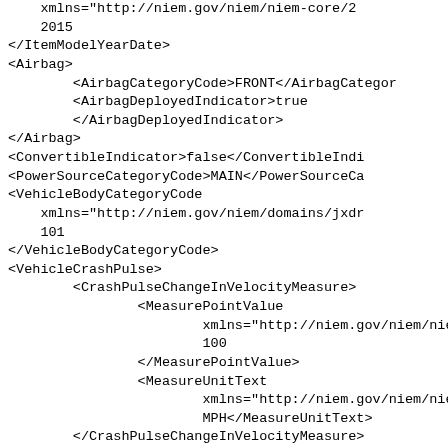xmlns="http://niem.gov/niem/niem-core/2
    2015
</ItemModelYearDate>
<Airbag>
        <AirbagCategoryCode>FRONT</AirbagCategor
        <AirbagDeployedIndicator>true
        </AirbagDeployedIndicator>
</Airbag>
<ConvertibleIndicator>false</ConvertibleIndi
<PowerSourceCategoryCode>MAIN</PowerSourceCa
<VehicleBodyCategoryCode
    xmlns="http://niem.gov/niem/domains/jxdr
    101
</VehicleBodyCategoryCode>
<VehicleCrashPulse>
        <CrashPulseChangeInVelocityMeasure>
                <MeasurePointValue
                        xmlns="http://niem.gov/niem/nier
                        100
                </MeasurePointValue>
                <MeasureUnitText
                        xmlns="http://niem.gov/niem/nier
                        MPH</MeasureUnitText>
        </CrashPulseChangeInVelocityMeasure>
                <CrashPulsePrincipalDirectionOff
                </CrashPulsePrincipalDirectionOf
        <CrashPulseRolloverQuarterTurnsValue>1
        </CrashPulseRolloverQuarterTurnsValue>
</VehicleCrashPulse>
<VehicleRollbarDeployedIndicator>false
    "VehicleRollbarDeployedIndicator